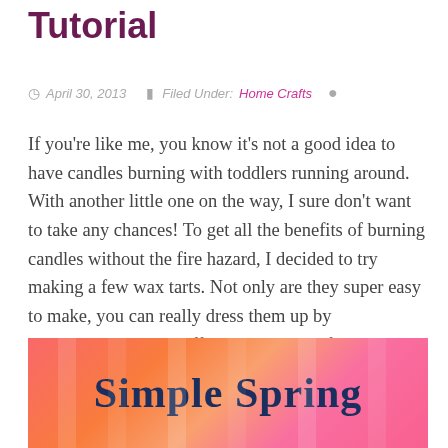Tutorial
April 30, 2013   Filed Under: Home Crafts
If you’re like me, you know it’s not a good idea to have candles burning with toddlers running around. With another little one on the way, I sure don’t want to take any chances! To get all the benefits of burning candles without the fire hazard, I decided to try making a few wax tarts. Not only are they super easy to make, you can really dress them up by experimenting with different colors and finding a cute wax tart warmer.
[Figure (illustration): Colorful pink and orange tie-dye style background with dark blue serif text reading 'Simple Spring']